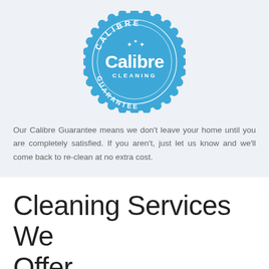[Figure (logo): Calibre Cleaning Guarantee badge/seal — circular blue badge with scalloped edge, text 'CALIBRE' at top arc, 'GUARANTEE' at bottom arc, 'Calibre' in large bold white text center, 'CLEANING' in smaller white caps below, decorative sparkle stars above]
Our Calibre Guarantee means we don't leave your home until you are completely satisfied. If you aren't, just let us know and we'll come back to re-clean at no extra cost.
Cleaning Services We Offer
Whatever your cleaning needs are, we've got